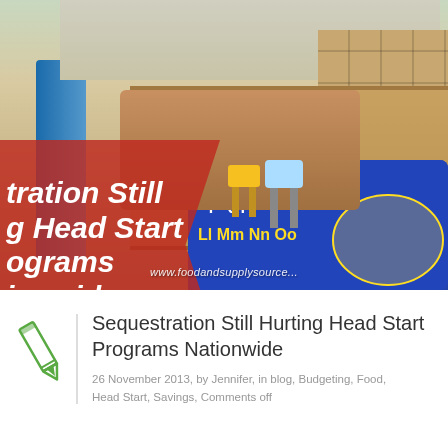[Figure (photo): Photograph of a preschool/Head Start classroom interior with colorful furniture, shelving units, alphabet rug, and child-sized tables and chairs. A red pentagon-shaped overlay with white italic bold text reads 'tration Still g Head Start ograms ionwide'. Website watermark 'www.foodandsupplysource...' appears at bottom of image.]
Sequestration Still Hurting Head Start Programs Nationwide
26 November 2013, by Jennifer, in blog, Budgeting, Food, Head Start, Savings, Comments off